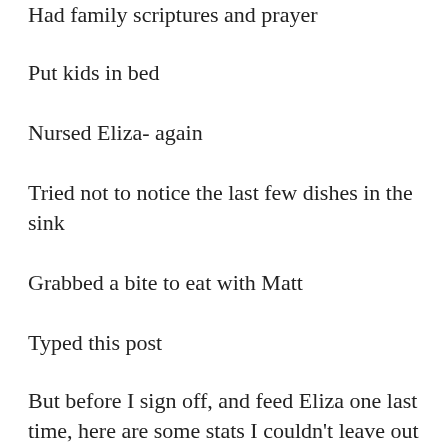Had family scriptures and prayer
Put kids in bed
Nursed Eliza- again
Tried not to notice the last few dishes in the sink
Grabbed a bite to eat with Matt
Typed this post
But before I sign off, and feed Eliza one last time, here are some stats I couldn't leave out